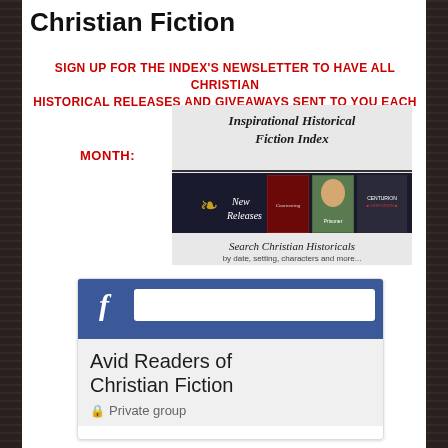Christian Fiction
SIGN UP FOR THE INDEX'S NEWSLETTER TO HAVE ALL CHRISTIAN HISTORICAL RELEASES AND GIVEAWAYS SENT TO YOU EACH MONTH:
[Figure (illustration): Inspirational Historical Fiction Index banner showing book covers and New Releases section with Search Christian Historicals by date, setting, characters and more...]
[Figure (screenshot): Facebook widget showing 'Avid Readers of Christian Fiction' Private group]